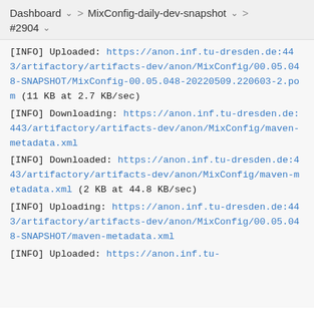Dashboard > MixConfig-daily-dev-snapshot > #2904
[INFO] Uploaded: https://anon.inf.tu-dresden.de:443/artifactory/artifacts-dev/anon/MixConfig/00.05.048-SNAPSHOT/MixConfig-00.05.048-20220509.220603-2.pom (11 KB at 2.7 KB/sec)
[INFO] Downloading: https://anon.inf.tu-dresden.de:443/artifactory/artifacts-dev/anon/MixConfig/maven-metadata.xml
[INFO] Downloaded: https://anon.inf.tu-dresden.de:443/artifactory/artifacts-dev/anon/MixConfig/maven-metadata.xml (2 KB at 44.8 KB/sec)
[INFO] Uploading: https://anon.inf.tu-dresden.de:443/artifactory/artifacts-dev/anon/MixConfig/00.05.048-SNAPSHOT/maven-metadata.xml
[INFO] Uploaded: https://anon.inf.tu-dresden.de:443/artifactory/artifacts-dev/anon/MixConfig/...